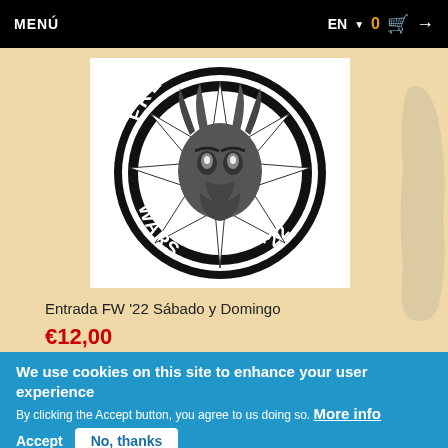MENÚ  EN ▾  0 🛒 →
[Figure (logo): Freak Wars 22 circular logo with dragon skull and star, black and white, text reads FREAK WARS '22]
Entrada FW '22 Sábado y Domingo
€12,00
We use cookies on this site to enhance your user experience
By clicking the Accept button, you agree to us doing so. More info
Accept
No, thanks